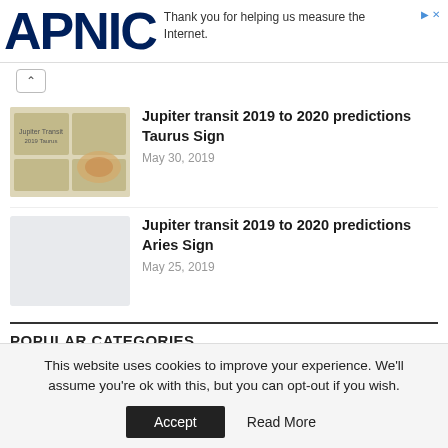APNIC — Thank you for helping us measure the Internet.
Jupiter transit 2019 to 2020 predictions Taurus Sign — May 30, 2019
Jupiter transit 2019 to 2020 predictions Aries Sign — May 25, 2019
POPULAR CATEGORIES
| Category | Count |
| --- | --- |
| Monthly Horoscope | 163 |
This website uses cookies to improve your experience. We'll assume you're ok with this, but you can opt-out if you wish. Accept  Read More